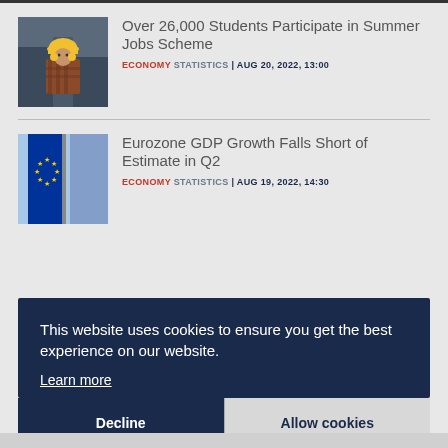[Figure (photo): Worker in yellow hard hat and plaid shirt standing in industrial facility]
Over 26,000 Students Participate in Summer Jobs Scheme
ECONOMY STATISTICS | AUG 20, 2022, 13:00
[Figure (photo): European Union flags on flagpoles with blue sky background]
Eurozone GDP Growth Falls Short of Estimate in Q2
ECONOMY STATISTICS | AUG 19, 2022, 14:30
This website uses cookies to ensure you get the best experience on our website.
Learn more
Decline
Allow cookies